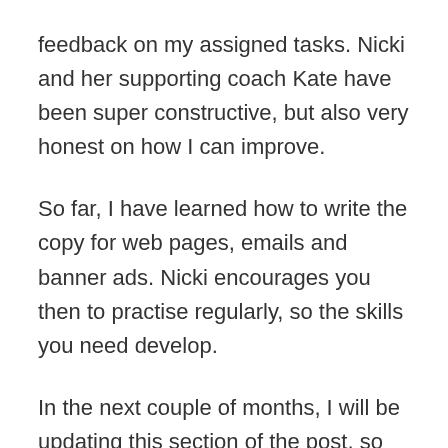feedback on my assigned tasks. Nicki and her supporting coach Kate have been super constructive, but also very honest on how I can improve.
So far, I have learned how to write the copy for web pages, emails and banner ads. Nicki encourages you then to practise regularly, so the skills you need develop.
In the next couple of months, I will be updating this section of the post, so you can see exactly what I have achieved by making